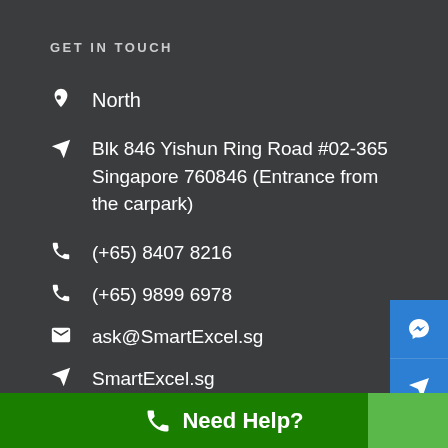GET IN TOUCH
North
Blk 846 Yishun Ring Road #02-365 Singapore 760846 (Entrance from the carpark)
(+65) 8407 8216
(+65) 9899 6978
ask@SmartExcel.sg
SmartExcel.sg
Need Help?